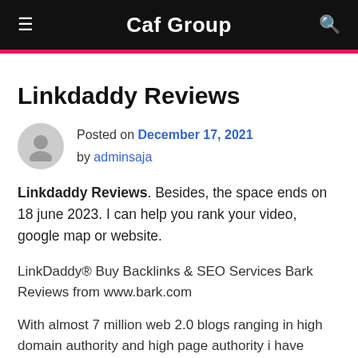Caf Group
Linkdaddy Reviews
Posted on December 17, 2021 by adminsaja
Linkdaddy Reviews. Besides, the space ends on 18 june 2023. I can help you rank your video, google map or website.
LinkDaddy® Buy Backlinks & SEO Services Bark Reviews from www.bark.com
With almost 7 million web 2.0 blogs ranging in high domain authority and high page authority i have managed to build